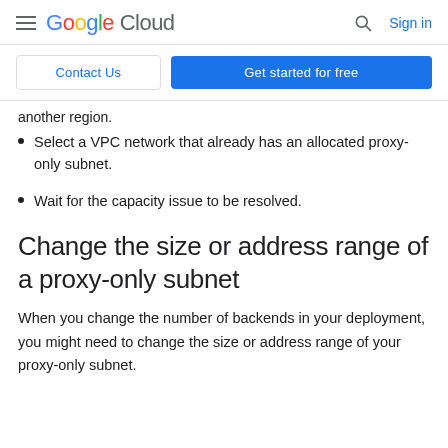Google Cloud  Sign in
Contact Us  Get started for free
another region.
Select a VPC network that already has an allocated proxy-only subnet.
Wait for the capacity issue to be resolved.
Change the size or address range of a proxy-only subnet
When you change the number of backends in your deployment, you might need to change the size or address range of your proxy-only subnet.